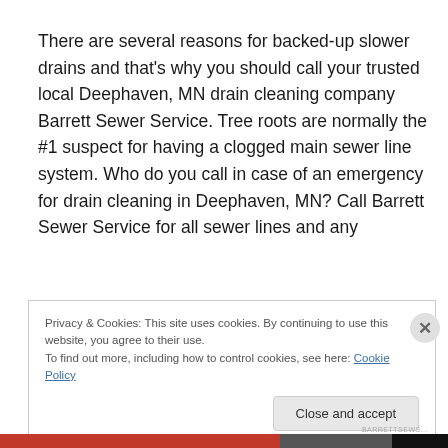There are several reasons for backed-up slower drains and that's why you should call your trusted local Deephaven, MN drain cleaning company Barrett Sewer Service. Tree roots are normally the #1 suspect for having a clogged main sewer line system. Who do you call in case of an emergency for drain cleaning in Deephaven, MN? Call Barrett Sewer Service for all sewer lines and any
Privacy & Cookies: This site uses cookies. By continuing to use this website, you agree to their use.
To find out more, including how to control cookies, see here: Cookie Policy